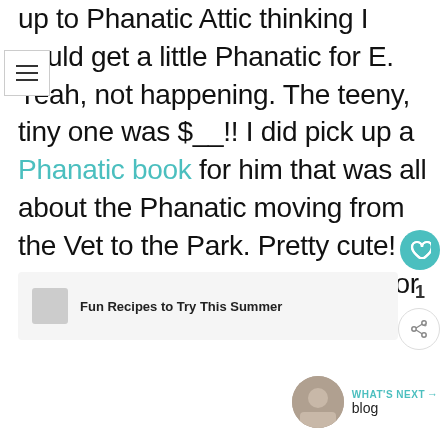up to Phanatic Attic thinking I could get a little Phanatic for E. Yeah, not happening. The teeny, tiny one was $__!! I did pick up a Phanatic book for him that was all about the Phanatic moving from the Vet to the Park. Pretty cute! I even managed to find a t-shirt for myself!
Fun Recipes to Try This Summer
WHAT'S NEXT → blog